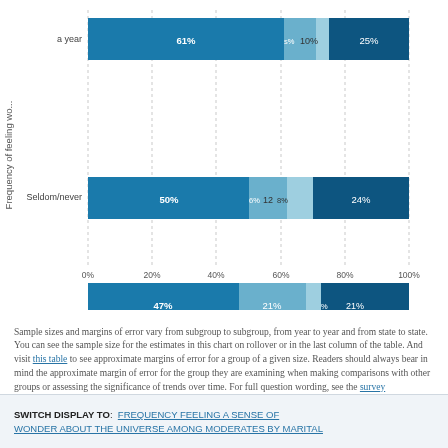[Figure (stacked-bar-chart): Frequency of feeling wonder]
Sample sizes and margins of error vary from subgroup to subgroup, from year to year and from state to state. You can see the sample size for the estimates in this chart on rollover or in the last column of the table. And visit this table to see approximate margins of error for a group of a given size. Readers should always bear in mind the approximate margin of error for the group they are examining when making comparisons with other groups or assessing the significance of trends over time. For full question wording, see the survey questionnaire.
SWITCH DISPLAY TO: FREQUENCY FEELING A SENSE OF WONDER ABOUT THE UNIVERSE AMONG MODERATES BY MARITAL